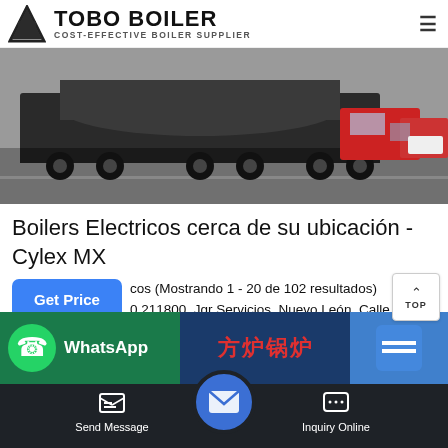TOBO BOILER - COST-EFFECTIVE BOILER SUPPLIER
[Figure (photo): A large industrial boiler or tank loaded on a heavy-duty flatbed truck trailer in a yard, black and white/grey tones, other trucks visible in background.]
Boilers Electricos cerca de su ubicación - Cylex MX
cos (Mostrando 1 - 20 de 102 resultados) 0.211800. Jgr Servicios. Nuevo León, Calle Satelite 4506 67180 Monterrey Fomerrey 20 (2 De Mayo) 81 3068 3825. Cerrado. Horario. Sitio web. Imágenes. Plomería y electricidad e…
[Figure (screenshot): Bottom image strip showing WhatsApp logo on green background on the left, Chinese characters (方 炉 锅 炉) in red on blue/dark background in the middle, and a partial blue element on the right.]
Send Message | Inquiry Online